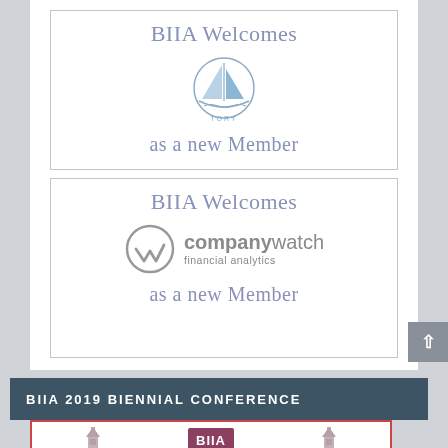[Figure (infographic): BIIA Welcomes TORY as a new Member announcement box with sailboat logo]
[Figure (infographic): BIIA Welcomes Companywatch financial analytics as a new Member announcement box with company logo]
BIIA 2019 BIENNIAL CONFERENCE
[Figure (infographic): BIIA 2019 Biennial Conference banner with BIIA logo and architectural imagery]